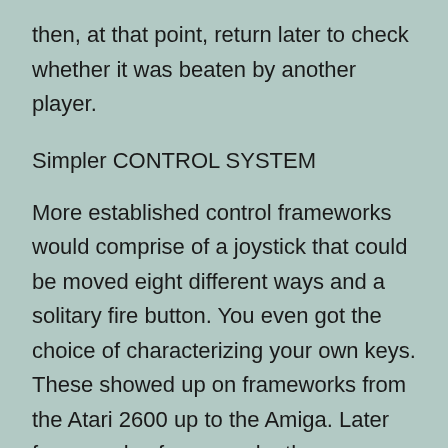then, at that point, return later to check whether it was beaten by another player.
Simpler CONTROL SYSTEM
More established control frameworks would comprise of a joystick that could be moved eight different ways and a solitary fire button. You even got the choice of characterizing your own keys. These showed up on frameworks from the Atari 2600 up to the Amiga. Later frameworks, for example, the Megadrive and Nintendo offered more fastens yet at the same time kept interactivity simpler. A more